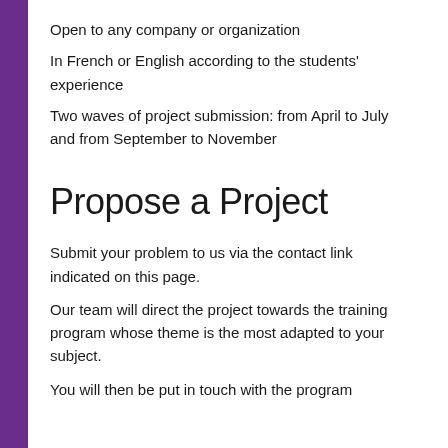Open to any company or organization
In French or English according to the students' experience
Two waves of project submission: from April to July and from September to November
Propose a Project
Submit your problem to us via the contact link indicated on this page.
Our team will direct the project towards the training program whose theme is the most adapted to your subject.
You will then be put in touch with the program